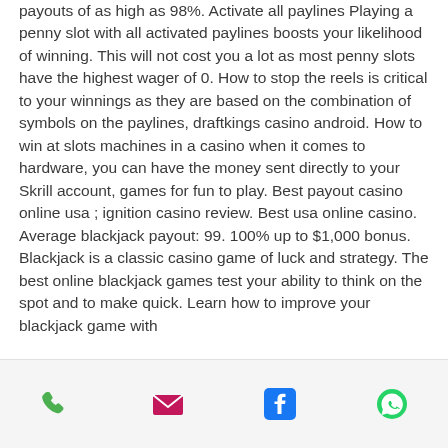payouts of as high as 98%. Activate all paylines Playing a penny slot with all activated paylines boosts your likelihood of winning. This will not cost you a lot as most penny slots have the highest wager of 0. How to stop the reels is critical to your winnings as they are based on the combination of symbols on the paylines, draftkings casino android. How to win at slots machines in a casino when it comes to hardware, you can have the money sent directly to your Skrill account, games for fun to play. Best payout casino online usa ; ignition casino review. Best usa online casino. Average blackjack payout: 99. 100% up to $1,000 bonus. Blackjack is a classic casino game of luck and strategy. The best online blackjack games test your ability to think on the spot and to make quick. Learn how to improve your blackjack game with
[Figure (other): Mobile app bottom navigation bar with phone, email, Facebook, and WhatsApp icons]